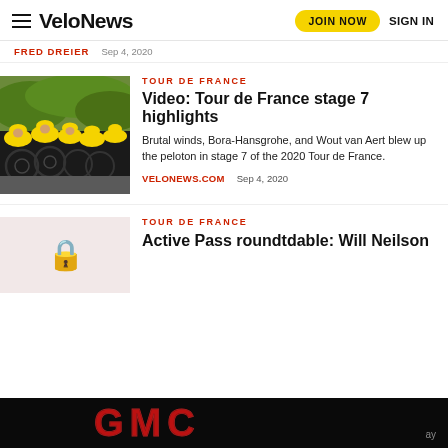VeloNews | JOIN NOW | SIGN IN
FRED DREIER  Sep 4, 2020
[Figure (photo): Cyclists in yellow Jumbo-Visma team kit racing in a peloton]
TOUR DE FRANCE
Video: Tour de France stage 7 highlights
Brutal winds, Bora-Hansgrohe, and Wout van Aert blew up the peloton in stage 7 of the 2020 Tour de France.
VELONEWS.COM  Sep 4, 2020
TOUR DE FRANCE
Active Pass roundtdable: Will Neilson
[Figure (photo): Lock icon indicating paywalled content]
[Figure (logo): GMC advertisement banner]